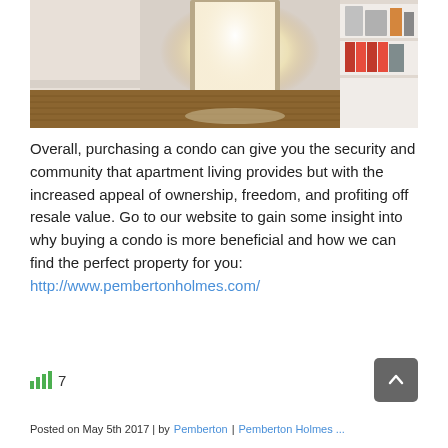[Figure (photo): Interior photo of a home hallway with hardwood floors, sunlight streaming in through a door, and a bookshelf with books and items visible on the right side.]
Overall, purchasing a condo can give you the security and community that apartment living provides but with the increased appeal of ownership, freedom, and profiting off resale value. Go to our website to gain some insight into why buying a condo is more beneficial and how we can find the perfect property for you: http://www.pembertonholmes.com/
Posted on May 5th 2017 | by Pemberton | Pemberton Holmes ...